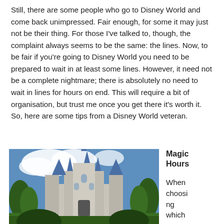Still, there are some people who go to Disney World and come back unimpressed. Fair enough, for some it may just not be their thing. For those I've talked to, though, the complaint always seems to be the same: the lines. Now, to be fair if you're going to Disney World you need to be prepared to wait in at least some lines. However, it need not be a complete nightmare; there is absolutely no need to wait in lines for hours on end. This will require a bit of organisation, but trust me once you get there it's worth it. So, here are some tips from a Disney World veteran.
[Figure (photo): Photo of Cinderella's Castle at Disney World with blue sky and trees in foreground]
Magic Hours
When choosing which